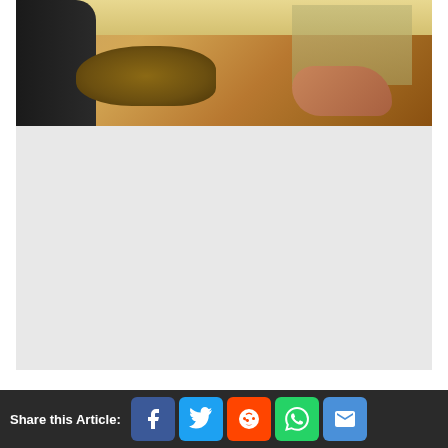[Figure (screenshot): Video game screenshot showing first-person perspective with hands holding dirt/loot over a bowl, with an outdoor courtyard scene in the background featuring buildings and figures]
[Figure (other): Large light gray placeholder/loading area below the game screenshot]
Traverse new locations for you to
Share this Article: [Facebook] [Twitter] [Reddit] [WhatsApp] [Email]